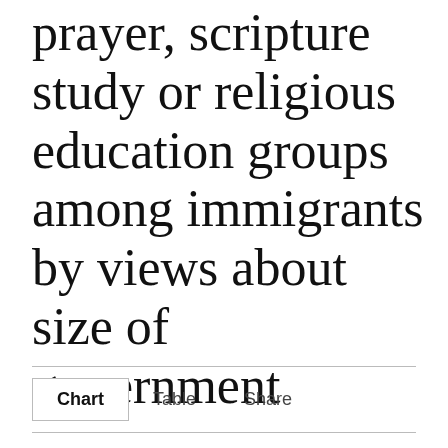prayer, scripture study or religious education groups among immigrants by views about size of government
Chart  Table  Share